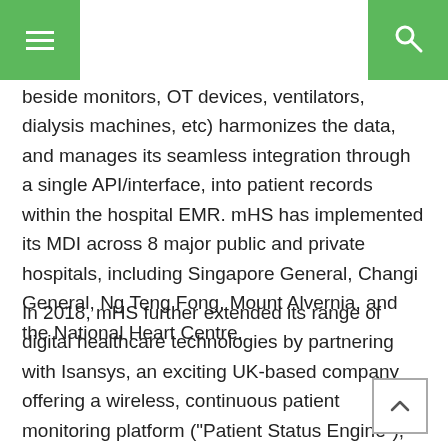Navigation header with menu and search icons
beside monitors, OT devices, ventilators, dialysis machines, etc) harmonizes the data, and manages its seamless integration through a single API/interface, into patient records within the hospital EMR. mHS has implemented its MDI across 8 major public and private hospitals, including Singapore General, Changi General, Ng Teng Fong, Mount Alvernia, and the National Heart Centre.
In 2018, mHS further extended its range of digital healthcare technologies by partnering with Isansys, an exciting UK-based company offering a wireless, continuous patient monitoring platform ("Patient Status Engine"), which incorporates advanced, wearable, wireless patches, which monitor ECG, HR, RR, temperature, and body position.